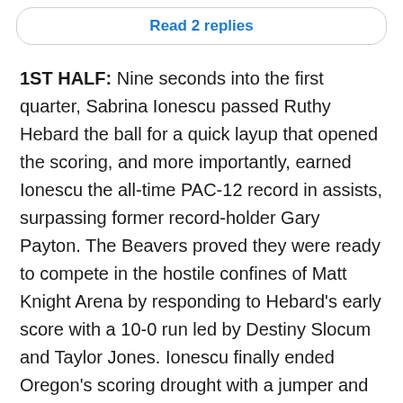Read 2 replies
1ST HALF: Nine seconds into the first quarter, Sabrina Ionescu passed Ruthy Hebard the ball for a quick layup that opened the scoring, and more importantly, earned Ionescu the all-time PAC-12 record in assists, surpassing former record-holder Gary Payton. The Beavers proved they were ready to compete in the hostile confines of Matt Knight Arena by responding to Hebard's early score with a 10-0 run led by Destiny Slocum and Taylor Jones. Ionescu finally ended Oregon's scoring drought with a jumper and at the 3:13 mark the home team was able to catch up with their rival and tie the game at 14 apiece. Oregon's big three outscored OSU 11 to 4 to close out the quarter with a seven-point lead.